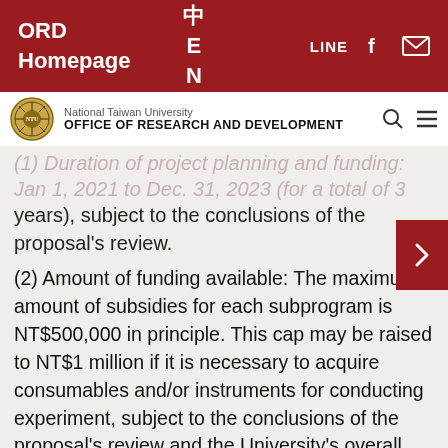ORD Homepage | 中 | E N | LINE | f | mail
[Figure (logo): National Taiwan University Office of Research and Development logo with university seal]
(1) Duration of project planning and funding: Jan 1, 2021 to Dec. 31, 2023 (for a total of 3 years), subject to the conclusions of the proposal's review.
(2) Amount of funding available: The maximum amount of subsidies for each subprogram is NT$500,000 in principle. This cap may be raised to NT$1 million if it is necessary to acquire consumables and/or instruments for conducting experiment, subject to the conclusions of the proposal's review and the University's overall budget.
3. Team composition
4. Eligibility of applicants